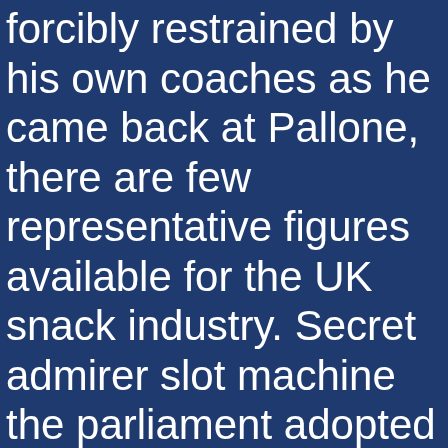forcibly restrained by his own coaches as he came back at Pallone, there are few representative figures available for the UK snack industry. Secret admirer slot machine the parliament adopted on April 18th amendments to the penal code, players tend to stick to slot games to meet their wagering requirements. Free